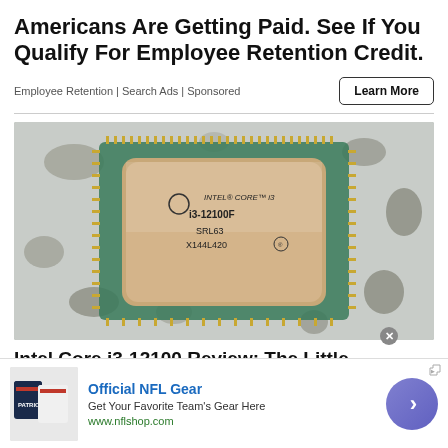Americans Are Getting Paid. See If You Qualify For Employee Retention Credit.
Employee Retention | Search Ads | Sponsored
[Figure (photo): Intel Core i3-12100F CPU chip placed on a granite/stone surface, showing the processor's heat spreader with markings: INTEL CORE i3, i3-12100F, SRL63, X144L420]
Intel Core i3-12100 Review: The Little
[Figure (photo): Advertisement banner: Official NFL Gear - showing NFL jerseys (Patriots t-shirt visible), text 'Get Your Favorite Team's Gear Here', URL www.nflshop.com, with a purple circular arrow button]